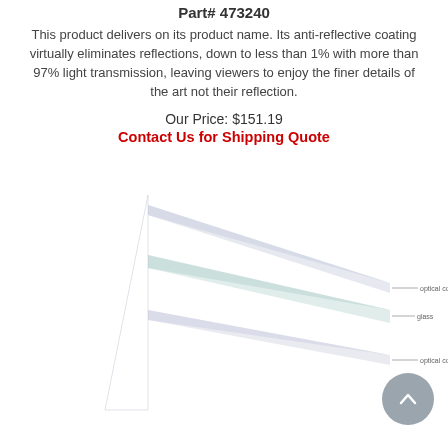Part# 473240
This product delivers on its product name. Its anti-reflective coating virtually eliminates reflections, down to less than 1% with more than 97% light transmission, leaving viewers to enjoy the finer details of the art not their reflection.
Our Price: $151.19
Contact Us for Shipping Quote
[Figure (engineering-diagram): Exploded layer diagram of anti-reflective glass showing three layers: top optical coating (triangular wedge shape), middle glass layer (rectangular slab), and bottom optical coating (triangular wedge shape), with labels pointing to each layer.]